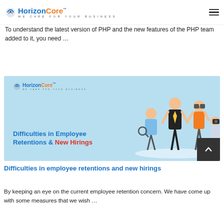HorizonCore™ WE CARE FOR YOUR BUSINESS
To understand the latest version of PHP and the new features of the PHP team added to it, you need …
READ MORE
[Figure (illustration): HorizonCore branded banner image with text 'Difficulties in Employee Retentions & New Hirings' in blue and red, with illustrated figures of people searching/looking through binoculars on a light blue background.]
Difficulties in employee retentions and new hirings
By keeping an eye on the current employee retention concern. We have come up with some measures that we wish …